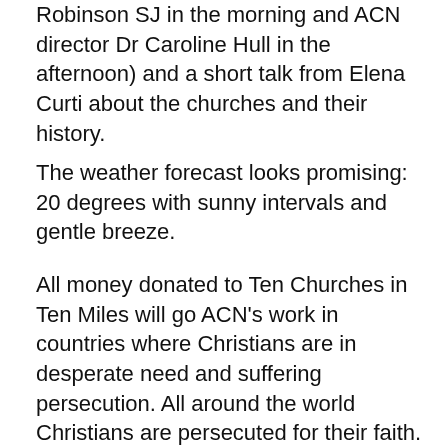Robinson SJ in the morning and ACN director Dr Caroline Hull in the afternoon) and a short talk from Elena Curti about the churches and their history.
The weather forecast looks promising: 20 degrees with sunny intervals and gentle breeze.
All money donated to Ten Churches in Ten Miles will go ACN's work in countries where Christians are in desperate need and suffering persecution. All around the world Christians are persecuted for their faith. Thousands are in need of food, medical supplies and shelter, things we take for granted. The Covid-19 pandemic has only made things worse.